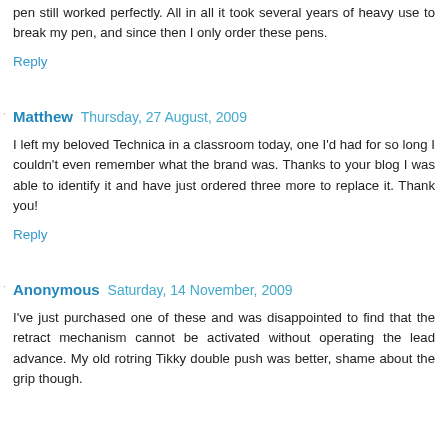cannot remember the grip rubber started to go away and I had to use another pen's grip rubber over the original, but the mechanic part of this pen still worked perfectly. All in all it took several years of heavy use to break my pen, and since then I only order these pens.
Reply
Matthew  Thursday, 27 August, 2009
I left my beloved Technica in a classroom today, one I'd had for so long I couldn't even remember what the brand was. Thanks to your blog I was able to identify it and have just ordered three more to replace it. Thank you!
Reply
Anonymous  Saturday, 14 November, 2009
I've just purchased one of these and was disappointed to find that the retract mechanism cannot be activated without operating the lead advance. My old rotring Tikky double push was better, shame about the grip though.